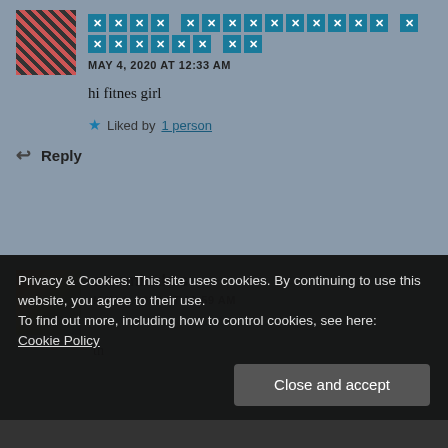[Figure (photo): Avatar image of a user, colorful/patterned, partially visible at top left]
MAY 4, 2020 AT 12:33 AM
hi fitnes girl
Liked by 1 person
Reply
[Figure (photo): Avatar photo of sammicakes, woman in colorful outfit outdoors]
sammicakes
MAY 4, 2020 AT 11:59 AM
Privacy & Cookies: This site uses cookies. By continuing to use this website, you agree to their use.
To find out more, including how to control cookies, see here:
Cookie Policy
Close and accept